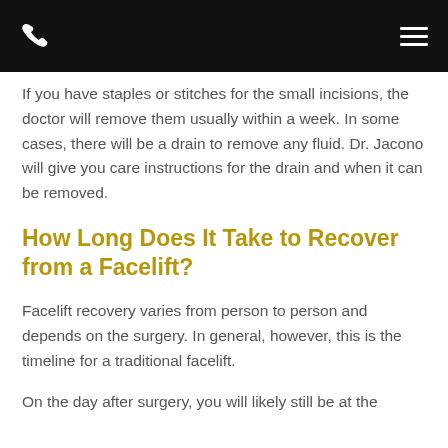[Phone icon] [Hamburger menu icon]
If you have staples or stitches for the small incisions, the doctor will remove them usually within a week. In some cases, there will be a drain to remove any fluid. Dr. Jacono will give you care instructions for the drain and when it can be removed.
How Long Does It Take to Recover from a Facelift?
Facelift recovery varies from person to person and depends on the surgery. In general, however, this is the timeline for a traditional facelift.
On the day after surgery, you will likely still be at the...